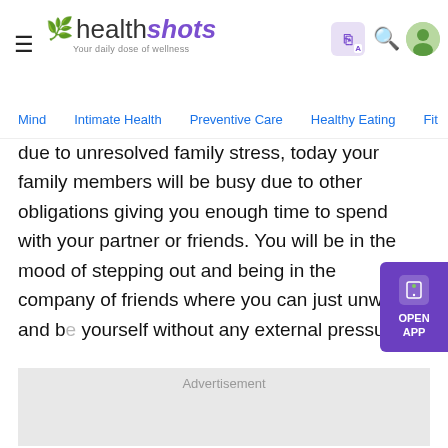healthshots - Your daily dose of wellness
Mind  Intimate Health  Preventive Care  Healthy Eating  Fit
due to unresolved family stress, today your family members will be busy due to other obligations giving you enough time to spend with your partner or friends. You will be in the mood of stepping out and being in the company of friends where you can just unwind and be yourself without any external pressure.
Advertisement